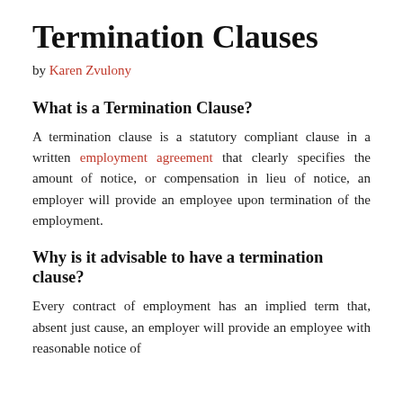Termination Clauses
by Karen Zvulony
What is a Termination Clause?
A termination clause is a statutory compliant clause in a written employment agreement that clearly specifies the amount of notice, or compensation in lieu of notice, an employer will provide an employee upon termination of the employment.
Why is it advisable to have a termination clause?
Every contract of employment has an implied term that, absent just cause, an employer will provide an employee with reasonable notice of